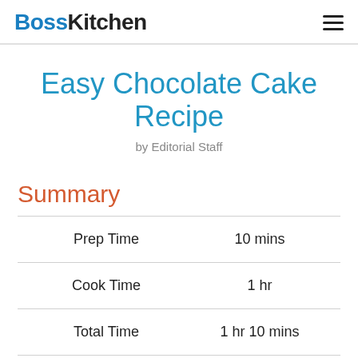BossKitchen
Easy Chocolate Cake Recipe
by Editorial Staff
Summary
|  |  |
| --- | --- |
| Prep Time | 10 mins |
| Cook Time | 1 hr |
| Total Time | 1 hr 10 mins |